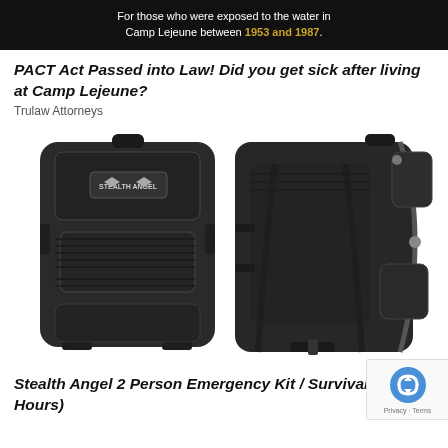[Figure (photo): Dark banner advertisement with white text referencing Camp Lejeune water exposure between 1953 and 1987, with the years highlighted in gold.]
PACT Act Passed into Law! Did you get sick after living at Camp Lejeune?
Trulaw Attorneys
[Figure (photo): Product photo showing two views of a black Stealth Angel tactical backpack / survival bag — front view on the left, back/side view on the right.]
Stealth Angel 2 Person Emergency Kit / Survival Bag ( Hours)